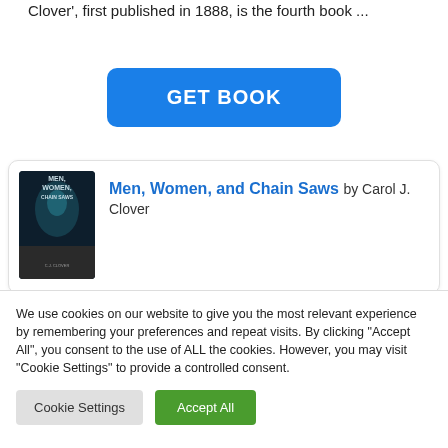Clover', first published in 1888, is the fourth book ...
[Figure (other): GET BOOK button - blue rounded rectangle with white text]
[Figure (other): Book card for 'Men, Women, and Chain Saws' by Carol J. Clover with book cover image]
Men, Women, and Chain Saws by Carol J. Clover
We use cookies on our website to give you the most relevant experience by remembering your preferences and repeat visits. By clicking "Accept All", you consent to the use of ALL the cookies. However, you may visit "Cookie Settings" to provide a controlled consent.
Cookie Settings | Accept All